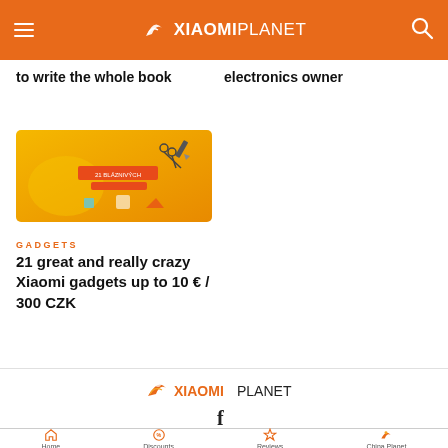XiaomiPlanet
to write the whole book
electronics owner
[Figure (illustration): Yellow promotional banner for Xiaomi gadgets sale with small gadget icons]
GADGETS
21 great and really crazy Xiaomi gadgets up to 10 € / 300 CZK
[Figure (logo): XiaomiPlanet logo in orange and black]
[Figure (other): Facebook icon letter f]
Home  Discounts  Reviews  China Planet